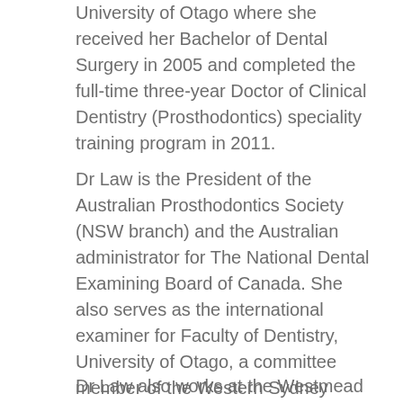University of Otago where she received her Bachelor of Dental Surgery in 2005 and completed the full-time three-year Doctor of Clinical Dentistry (Prosthodontics) speciality training program in 2011.
Dr Law is the President of the Australian Prosthodontics Society (NSW branch) and the Australian administrator for The National Dental Examining Board of Canada. She also serves as the international examiner for Faculty of Dentistry, University of Otago, a committee member of the Western Sydney Local Health District ethics subcommittee, and as reviewer for the international journals. She has published in international journals.
Dr Law also works at the Westmead Centre for Oral Health where she...